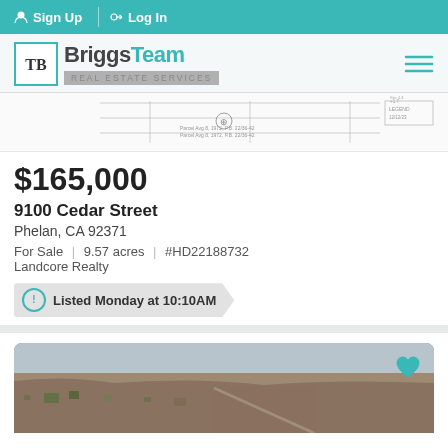Sign Up | Log In
[Figure (logo): BriggsTeam Real Estate Services logo with teal TB monogram icon]
[Figure (other): Property plat/map survey lines thumbnail]
$165,000
9100 Cedar Street
Phelan, CA 92371
For Sale | 9.57 acres | #HD22188732
Landcore Realty
Listed Monday at 10:10AM
[Figure (photo): Aerial photo of rural land with sparse structures and desert landscape]